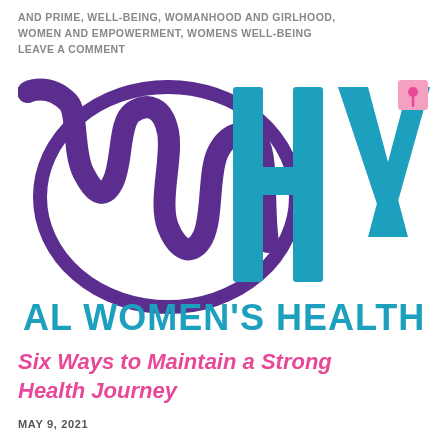AND PRIME, WELL-BEING, WOMANHOOD AND GIRLHOOD, WOMEN AND EMPOWERMENT, WOMENS WELL-BEING LEAVE A COMMENT
[Figure (logo): WHV - AL WOMEN'S HEALTH logo. A stylized cursive purple 'w' on the left, overlapping a large teal 'H' and 'V' block letters in the center-right. A pink square with a pushpin icon appears at the top right corner of the 'V'. Below reads 'AL WOMEN'S HEALTH' in bold teal uppercase letters.]
Six Ways to Maintain a Strong Health Journey
MAY 9, 2021